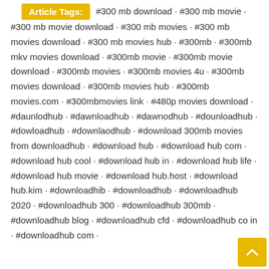Article Tags: #300 mb download · #300 mb movie · #300 mb movie download · #300 mb movies · #300 mb movies download · #300 mb movies hub · #300mb · #300mb mkv movies download · #300mb movie · #300mb movie download · #300mb movies · #300mb movies 4u · #300mb movies download · #300mb movies hub · #300mb movies.com · #300mbmovies link · #480p movies download · #daunlodhub · #dawnloadhub · #dawnodhub · #dounloadhub · #dowloadhub · #downlaodhub · #download 300mb movies from downloadhub · #download hub · #download hub com · #download hub cool · #download hub in · #download hub life · #download hub movie · #download hub.host · #download hub.kim · #downloadhib · #downloadhub · #downloadhub 2020 · #downloadhub 300 · #downloadhub 300mb · #downloadhub blog · #downloadhub cfd · #downloadhub co in · #downloadhub com ·